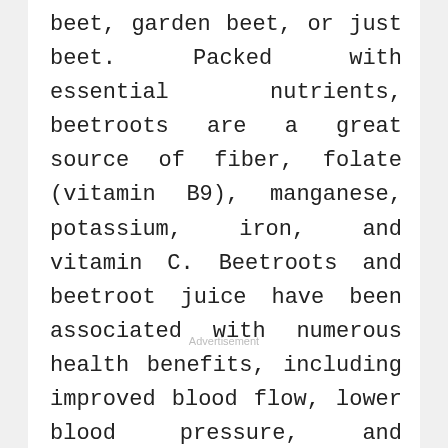beet, garden beet, or just beet. Packed with essential nutrients, beetroots are a great source of fiber, folate (vitamin B9), manganese, potassium, iron, and vitamin C. Beetroots and beetroot juice have been associated with numerous health benefits, including improved blood flow, lower blood pressure, and increased exercise performance.
Advertisement